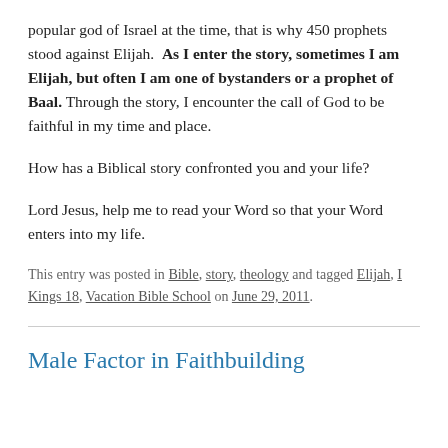popular god of Israel at the time, that is why 450 prophets stood against Elijah.  As I enter the story, sometimes I am Elijah, but often I am one of bystanders or a prophet of Baal. Through the story, I encounter the call of God to be faithful in my time and place.
How has a Biblical story confronted you and your life?
Lord Jesus, help me to read your Word so that your Word enters into my life.
This entry was posted in Bible, story, theology and tagged Elijah, I Kings 18, Vacation Bible School on June 29, 2011.
Male Factor in Faithbuilding